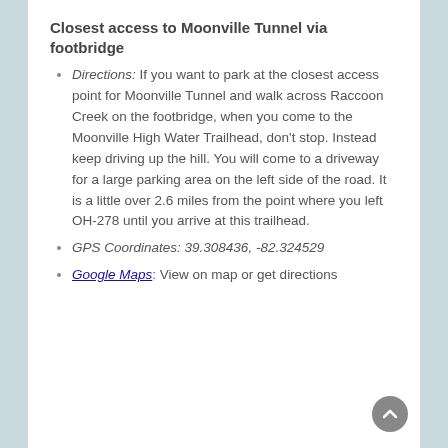Closest access to Moonville Tunnel via footbridge
Directions: If you want to park at the closest access point for Moonville Tunnel and walk across Raccoon Creek on the footbridge, when you come to the Moonville High Water Trailhead, don't stop. Instead keep driving up the hill. You will come to a driveway for a large parking area on the left side of the road. It is a little over 2.6 miles from the point where you left OH-278 until you arrive at this trailhead.
GPS Coordinates: 39.308436, -82.324529
Google Maps: View on map or get directions